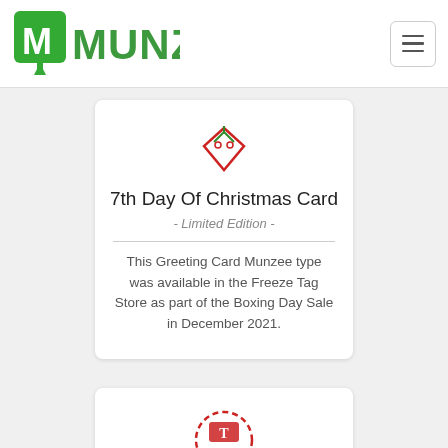[Figure (logo): Munzee logo — green block letter M in a square icon, followed by MUNZEE text in green]
[Figure (illustration): Small Munzee map-pin style icon in red and green Christmas colors]
7th Day Of Christmas Card
- Limited Edition -
This Greeting Card Munzee type was available in the Freeze Tag Store as part of the Boxing Day Sale in December 2021.
[Figure (illustration): Partial view of another Munzee card icon at bottom of page]